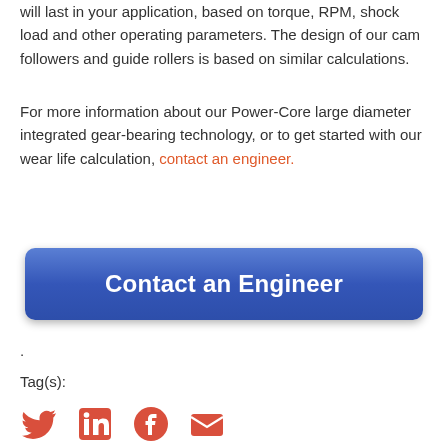will last in your application, based on torque, RPM, shock load and other operating parameters. The design of our cam followers and guide rollers is based on similar calculations.
For more information about our Power-Core large diameter integrated gear-bearing technology, or to get started with our wear life calculation, contact an engineer.
[Figure (other): Blue button labeled 'Contact an Engineer']
.
Tag(s):
[Figure (other): Social media icons: Twitter, LinkedIn, Facebook, Email — all in red/orange color]